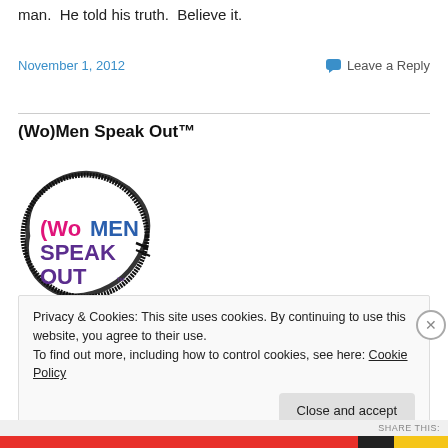man.  He told his truth.  Believe it.
November 1, 2012
Leave a Reply
(Wo)Men Speak Out™
[Figure (logo): (Wo)Men Speak Out logo — circular black brush stroke border with colorful text: '(Wo)MEN SPEAK OUT™' in pink, blue, and purple inside]
Privacy & Cookies: This site uses cookies. By continuing to use this website, you agree to their use.
To find out more, including how to control cookies, see here: Cookie Policy
Close and accept